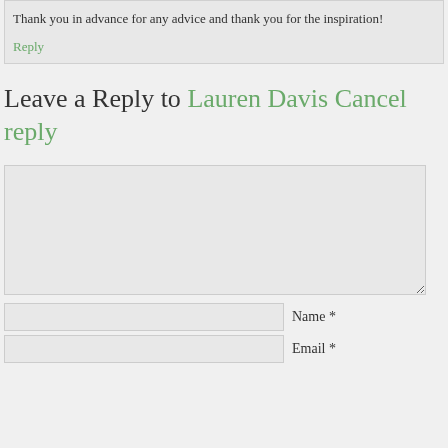Thank you in advance for any advice and thank you for the inspiration!
Reply
Leave a Reply to Lauren Davis Cancel reply
[Figure (other): Large comment text area input box]
Name *
Email *